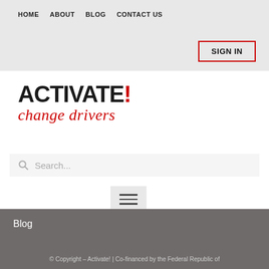HOME  ABOUT  BLOG  CONTACT US
[Figure (screenshot): SIGN IN button with red border]
[Figure (logo): ACTIVATE! change drivers logo — ACTIVATE! in bold black uppercase with red exclamation mark, 'change drivers' in red italic script below]
[Figure (screenshot): Search bar with magnifying glass icon and placeholder text 'Search...']
[Figure (screenshot): Hamburger menu button (three horizontal lines) on grey background]
Blog
© Copyright – Activate! | Co-financed by the Federal Republic of